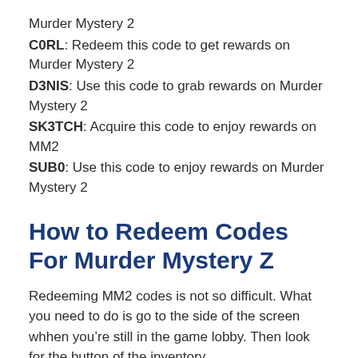Murder Mystery 2
C0RL: Redeem this code to get rewards on Murder Mystery 2
D3NIS: Use this code to grab rewards on Murder Mystery 2
SK3TCH: Acquire this code to enjoy rewards on MM2
SUB0: Use this code to enjoy rewards on Murder Mystery 2
How to Redeem Codes For Murder Mystery Z
Redeeming MM2 codes is not so difficult. What you need to do is go to the side of the screen whhen you’re still in the game lobby. Then look for the button of the inventory.